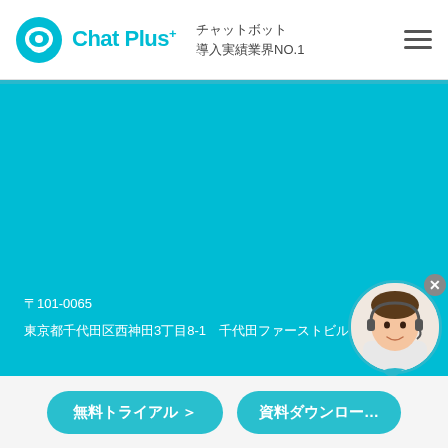Chat Plus+ チャットボット 導入実績業界NO.1
[Figure (illustration): Chat Plus logo with teal circular icon and brand name]
〒101-0065
東京都千代田区西神田3丁目8-1　千代田ファーストビル東館6階
[Figure (photo): Customer support agent avatar in circular chat widget with close button]
無料トライアル ＞　資料ダウンロード